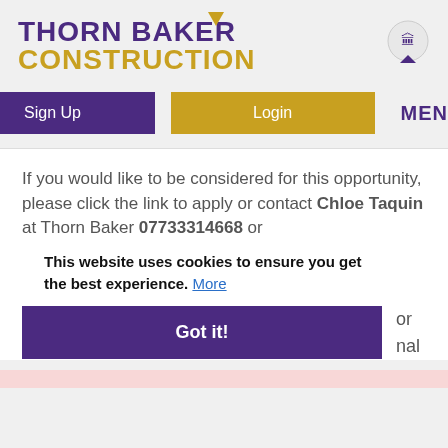[Figure (logo): Thorn Baker Construction logo with purple text 'THORN BAKER' and gold text 'CONSTRUCTION', a gold arrow accent, and a circular badge icon]
[Figure (screenshot): Navigation bar with purple 'Sign Up' button, gold 'Login' button, and purple 'MENU' with hamburger icon]
If you would like to be considered for this opportunity, please click the link to apply or contact Chloe Taquin at Thorn Baker 07733314668 or
This website uses cookies to ensure you get the best experience. More
[Figure (screenshot): Purple 'Got it!' button for cookie consent banner]
or
nal